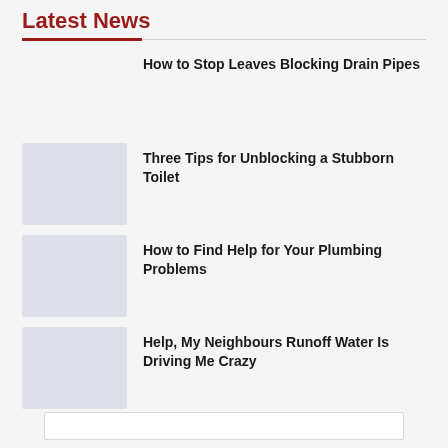Latest News
How to Stop Leaves Blocking Drain Pipes
Three Tips for Unblocking a Stubborn Toilet
How to Find Help for Your Plumbing Problems
Help, My Neighbours Runoff Water Is Driving Me Crazy